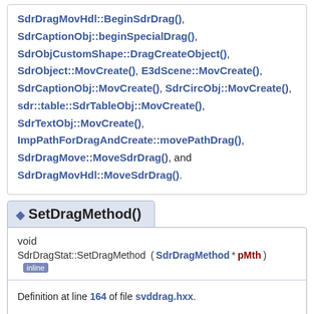SdrDragMovHdl::BeginSdrDrag(), SdrCaptionObj::beginSpecialDrag(), SdrObjCustomShape::DragCreateObject(), SdrObject::MovCreate(), E3dScene::MovCreate(), SdrCaptionObj::MovCreate(), SdrCircObj::MovCreate(), sdr::table::SdrTableObj::MovCreate(), SdrTextObj::MovCreate(), ImpPathForDragAndCreate::movePathDrag(), SdrDragMove::MoveSdrDrag(), and SdrDragMovHdl::MoveSdrDrag().
SetDragMethod()
void
SdrDragStat::SetDragMethod ( SdrDragMethod * pMth ) inline
Definition at line 164 of file svddrag.hxx.
Referenced by SdrDragView::BegDragObj().